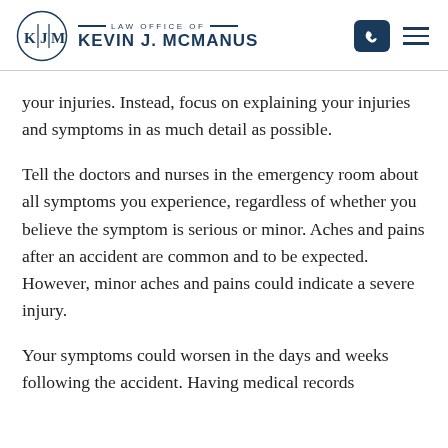Law Office of Kevin J. McManus
your injuries. Instead, focus on explaining your injuries and symptoms in as much detail as possible.
Tell the doctors and nurses in the emergency room about all symptoms you experience, regardless of whether you believe the symptom is serious or minor. Aches and pains after an accident are common and to be expected. However, minor aches and pains could indicate a severe injury.
Your symptoms could worsen in the days and weeks following the accident. Having medical records